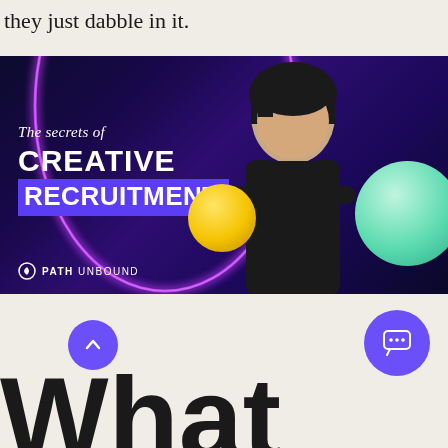they just dabble in it.
[Figure (photo): Promotional banner for 'The secrets of CREATIVE RECRUITMENT' featuring a young Asian woman in a black outfit with arms crossed, standing against a dark purple/blue background with neon pink arc light and colorful balls. PATH UNBOUND logo in bottom left.]
What